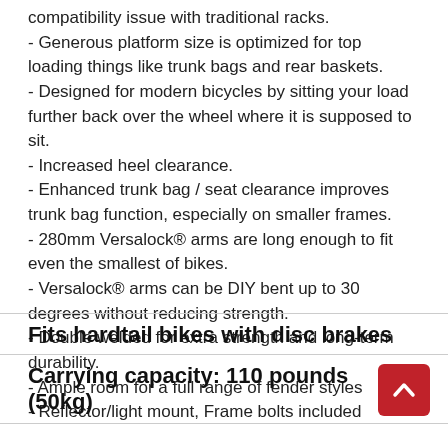compatibility issue with traditional racks.
- Generous platform size is optimized for top loading things like trunk bags and rear baskets.
- Designed for modern bicycles by sitting your load further back over the wheel where it is supposed to sit.
- Increased heel clearance.
- Enhanced trunk bag / seat clearance improves trunk bag function, especially on smaller frames.
- 280mm Versalock® arms are long enough to fit even the smallest of bikes.
- Versalock® arms can be DIY bent up to 30 degrees without reducing strength.
- Double welded for extra strength and long-term durability.
- Ample room for a full range of fender styles
- Reflector/light mount, Frame bolts included
Fits hardtail bikes with disc brakes
Carrying capacity: 110 pounds (50kg)